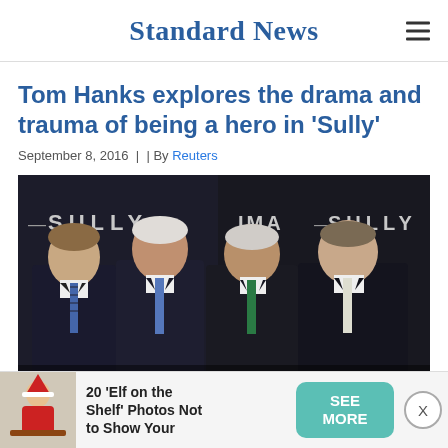Standard News
Tom Hanks explores the drama and trauma of being a hero in 'Sully'
September 8, 2016  |  | By Reuters
[Figure (photo): Four men in suits standing in front of a Sully/IMAX movie premiere backdrop. From left: a younger man in a dark suit with striped tie, Chesley Sullenberger in dark suit with blue tie, Clint Eastwood in dark suit with green tie, and Tom Hanks in dark suit with white tie.]
20 'Elf on the Shelf' Photos Not to Show Your Children